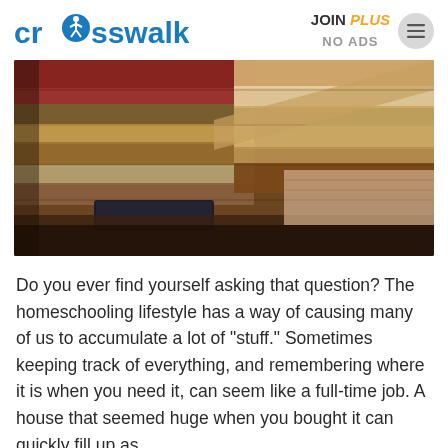crosswalk.com | JOIN PLUS NO ADS
[Figure (photo): Cluttered shelf or table with stacked books, papers, and various items piled up in a disorganized homeschool setting.]
Do you ever find yourself asking that question? The homeschooling lifestyle has a way of causing many of us to accumulate a lot of "stuff." Sometimes keeping track of everything, and remembering where it is when you need it, can seem like a full-time job. A house that seemed huge when you bought it can quickly fill up as